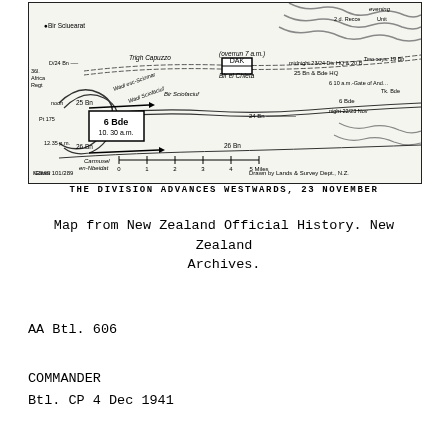[Figure (map): Military map titled 'THE DIVISION ADVANCES WESTWARDS, 23 NOVEMBER'. Shows troop movements and positions near Bir Sciuearat, Trigh Capuzzo, DAK, Bir el Chleta, Carmusel en-Nbeidat, and Gate of Antelat. Features unit labels including 25 Bn, 26 Bn, 6 Bde, D/24 Bn, 19 Bn, 24 Bn positions with times noted (noon, 12.35 p.m., 10.30 a.m., 7 a.m., midnight 23/24, night 22/23 Nov). Scale shows 0-5 Miles. NZMS 101/289. Drawn by Lands & Survey Dept., N.Z.]
THE DIVISION ADVANCES WESTWARDS, 23 NOVEMBER
Map from New Zealand Official History. New Zealand Archives.
AA Btl. 606
COMMANDER
Btl. CP 4 Dec 1941